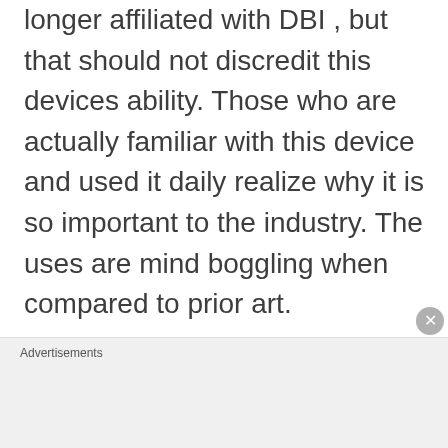longer affiliated with DBI , but that should not discredit this devices ability. Those who are actually familiar with this device and used it daily realize why it is so important to the industry. The uses are mind boggling when compared to prior art.
Advertisements